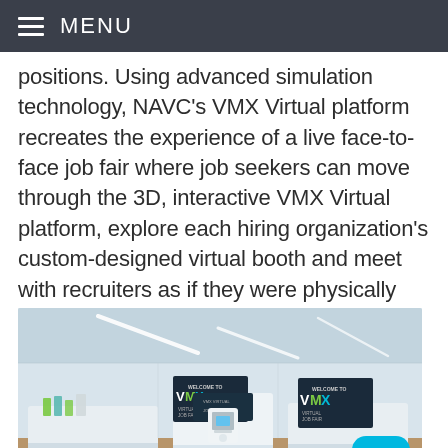MENU
positions. Using advanced simulation technology, NAVC's VMX Virtual platform recreates the experience of a live face-to-face job fair where job seekers can move through the 3D, interactive VMX Virtual platform, explore each hiring organization's custom-designed virtual booth and meet with recruiters as if they were physically there.
[Figure (photo): 3D rendered virtual job fair environment showing white booth displays with VMX Virtual Job Fair signage, product displays, and interactive kiosks in a futuristic white room setting]